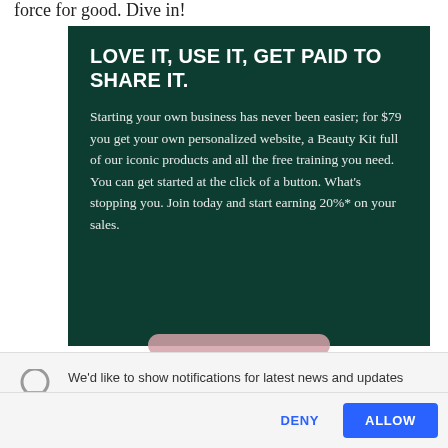force for good. Dive in!
LOVE IT, USE IT, GET PAID TO SHARE IT.
Starting your own business has never been easier; for $79 you get your own personalized website, a Beauty Kit full of our iconic products and all the free training you need. You can get started at the click of a button. What's stopping you. Join today and start earning 20%* on your sales.
We'd like to show notifications for latest news and updates
DENY
ALLOW